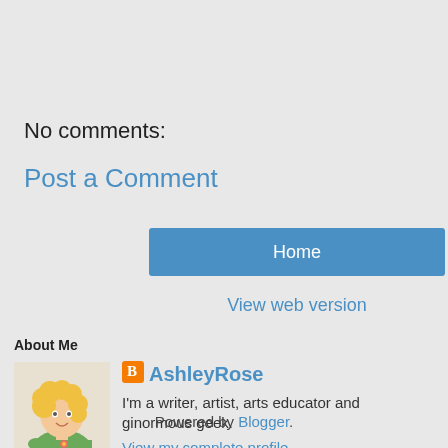No comments:
Post a Comment
Home
View web version
About Me
[Figure (illustration): Cartoon illustration of a woman with curly blonde hair wearing a green shirt]
AshleyRose
I'm a writer, artist, arts educator and ginormous geek.
View my complete profile
Powered by Blogger.